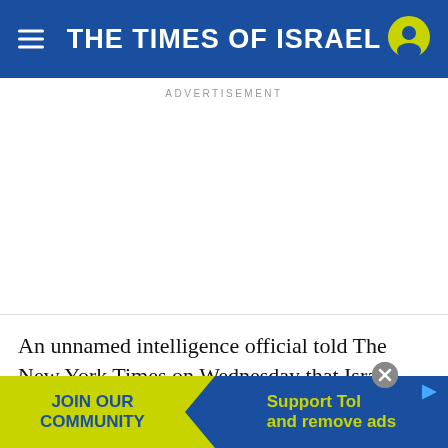THE TIMES OF ISRAEL
ADVERTISEMENT
An unnamed intelligence official told The New York Times on Wednesday that Israeli officials had passed along information about the killing of Khoda... n
[Figure (infographic): JOIN OUR COMMUNITY / Support ToI and remove ads promotional banner at bottom of page]